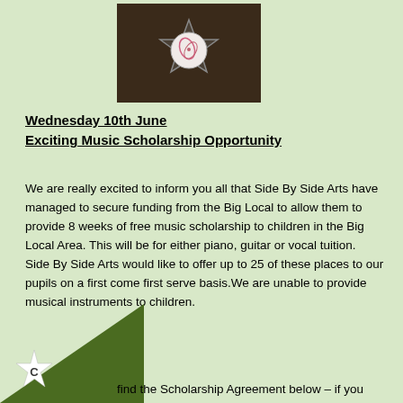[Figure (photo): A circular badge or pin with a star shape and decorative design, photographed against a dark background]
Wednesday 10th June
Exciting Music Scholarship Opportunity
We are really excited to inform you all that Side By Side Arts have managed to secure funding from the Big Local to allow them to provide 8 weeks of free music scholarship to children in the Big Local Area. This will be for either piano, guitar or vocal tuition.
Side By Side Arts would like to offer up to 25 of these places to our pupils on a first come first serve basis.We are unable to provide musical instruments to children.
find the Scholarship Agreement below – if you